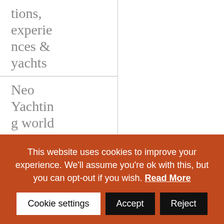tions, experiences & yachts
Neo Yachting world
Non classé
Yachtin
This website uses cookies to improve your experience. We'll assume you're ok with this, but you can opt-out if you wish. Read More
Cookie settings  Accept  Reject